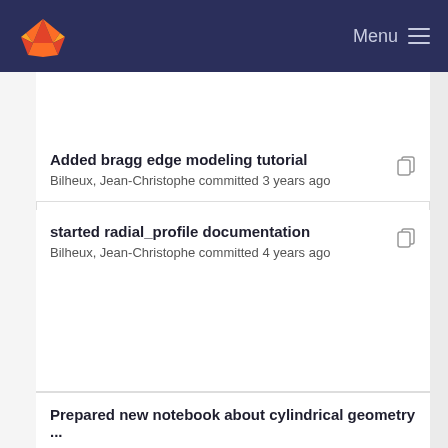GitLab navigation bar with Menu
Added bragg edge modeling tutorial
Bilheux, Jean-Christophe committed 3 years ago
started radial_profile documentation
Bilheux, Jean-Christophe committed 4 years ago
Prepared new notebook about cylindrical geometry ...